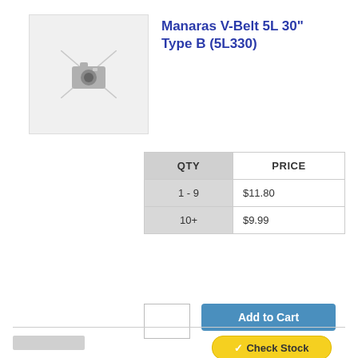[Figure (photo): Product image placeholder with camera icon on light gray background]
Manaras V-Belt 5L 30" Type B (5L330)
| QTY | PRICE |
| --- | --- |
| 1 - 9 | $11.80 |
| 10+ | $9.99 |